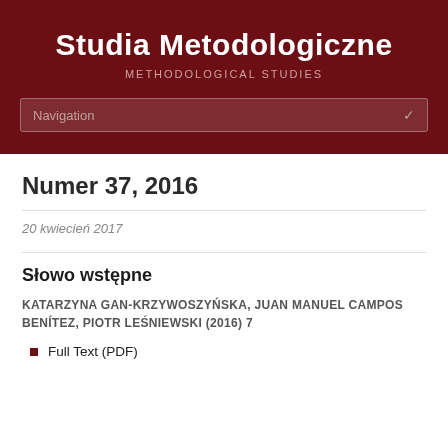Studia Metodologiczne
METHODOLOGICAL STUDIES
Numer 37, 2016
20 kwiecień 2017
Słowo wstępne
KATARZYNA GAN-KRZYWOSZYŃSKA, JUAN MANUEL CAMPOS BENÍTEZ, PIOTR LEŚNIEWSKI (2016) 7
Full Text (PDF)